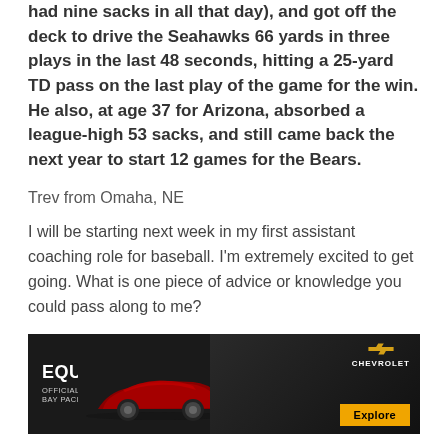had nine sacks in all that day), and got off the deck to drive the Seahawks 66 yards in three plays in the last 48 seconds, hitting a 25-yard TD pass on the last play of the game for the win. He also, at age 37 for Arizona, absorbed a league-high 53 sacks, and still came back the next year to start 12 games for the Bears.
Trev from Omaha, NE
I will be starting next week in my first assistant coaching role for baseball. I'm extremely excited to get going. What is one piece of advice or knowledge you could pass along to me?
[Figure (other): Advertisement for Chevrolet Equinox RS, official vehicle of the Green Bay Packers, with an Explore button]
[Figure (other): Social sharing icons: Facebook, Twitter, Email, Link]